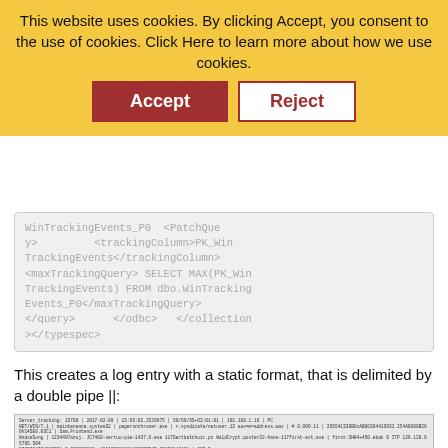This website uses cookies. By clicking Accept, you consent to the use of cookies. Click Here to learn more about how we use cookies.
Accept
Reject
WinTrackingEvents_P0</maxTrackingQuery>
</query>      </odbc>    </collection></typespec>
This creates a log entry with a static format, that is delimited by a double pipe ||:
[Figure (screenshot): Screenshot of a log entry line with double pipe delimited format showing server tracking data]
This makes it easy for us to create a new log parser.